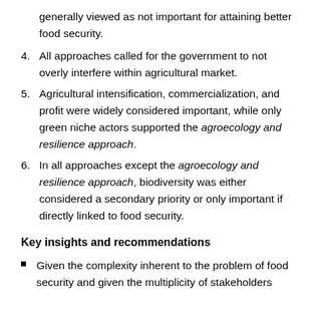generally viewed as not important for attaining better food security.
4. All approaches called for the government to not overly interfere within agricultural market.
5. Agricultural intensification, commercialization, and profit were widely considered important, while only green niche actors supported the agroecology and resilience approach.
6. In all approaches except the agroecology and resilience approach, biodiversity was either considered a secondary priority or only important if directly linked to food security.
Key insights and recommendations
Given the complexity inherent to the problem of food security and given the multiplicity of stakeholders